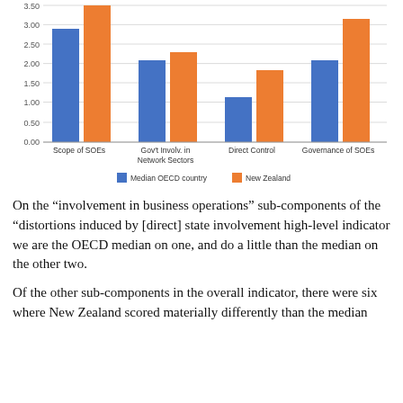[Figure (grouped-bar-chart): ]
On the “involvement in business operations” sub-components of the “distortions induced by [direct] state involvement high-level indicator we are the OECD median on one, and do a little than the median on the other two.
Of the other sub-components in the overall indicator, there were six where New Zealand scored materially differently than the median